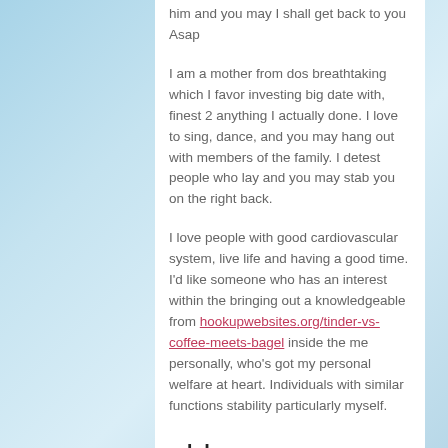him and you may I shall get back to you Asap
I am a mother from dos breathtaking which I favor investing big date with, finest 2 anything I actually done. I love to sing, dance, and you may hang out with members of the family. I detest people who lay and you may stab you on the right back.
I love people with good cardiovascular system, live life and having a good time. I’d like someone who has an interest within the bringing out a knowledgeable from hookupwebsites.org/tinder-vs-coffee-meets-bagel inside the me personally, who’s got my personal welfare at heart. Individuals with similar functions stability particularly myself.
older guys seeking to ladies
I live in Denver, CO. I favor alcohol, ladies, tattoos,